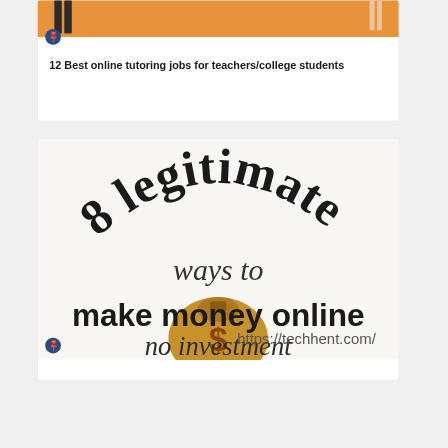[Figure (infographic): Top card with orange banner, dark silhouette legs on left, light legs on right, blue pin circle, and bold title text: 12 Best online tutoring jobs for teachers/college students]
12 Best online tutoring jobs for teachers/college students
[Figure (infographic): Infographic showing '8 legitimate ways to make money online no investment' with a money bag containing dollar sign, surrounded by stacks of cash. URL: https://techhent.com/]